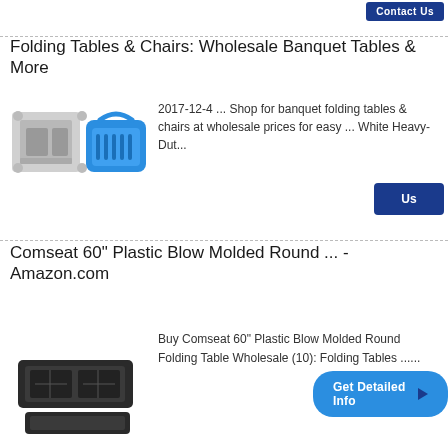Contact Us
Folding Tables & Chairs: Wholesale Banquet Tables & More
[Figure (photo): Two product images: a plastic injection mold and a blue shopping basket]
2017-12-4 ... Shop for banquet folding tables & chairs at wholesale prices for easy ... White Heavy-Dut...
[Figure (screenshot): Get Detailed Info button in blue with arrow, mail circle icon, and Contact Us button in dark blue]
Comseat 60" Plastic Blow Molded Round ... - Amazon.com
[Figure (photo): Dark colored plastic folding table mold pieces]
Buy Comseat 60" Plastic Blow Molded Round Folding Table Wholesale (10): Folding Tables ......